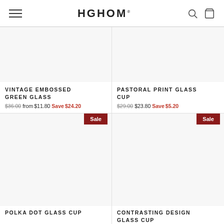HGHOM
VINTAGE EMBOSSED GREEN GLASS
$36.00 from $11.80 Save $24.20
PASTORAL PRINT GLASS CUP
$29.00 $23.80 Save $5.20
POLKA DOT GLASS CUP
CONTRASTING DESIGN GLASS CUP